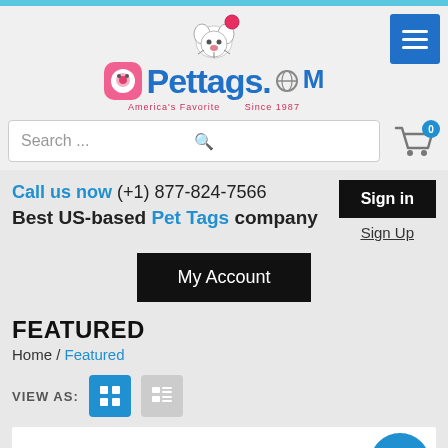[Figure (logo): Pettags.com logo with dog mascot, pink icon, blue text, tagline America's Favorite Since 1987]
[Figure (screenshot): Menu hamburger button in blue]
Search ...
[Figure (illustration): Shopping cart icon with badge showing 0]
Call us now (+1) 877-824-7566
Best US-based Pet Tags company
Sign in
Sign Up
My Account
FEATURED
Home / Featured
VIEW AS:
SALE